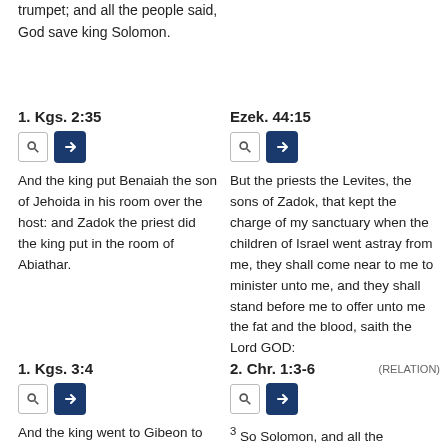trumpet; and all the people said, God save king Solomon.
1. Kgs. 2:35
And the king put Benaiah the son of Jehoida in his room over the host: and Zadok the priest did the king put in the room of Abiathar.
Ezek. 44:15
But the priests the Levites, the sons of Zadok, that kept the charge of my sanctuary when the children of Israel went astray from me, they shall come near to me to minister unto me, and they shall stand before me to offer unto me the fat and the blood, saith the Lord GOD:
(RELATION)
1. Kgs. 3:4
And the king went to Gibeon to
2. Chr. 1:3-6
3 So Solomon, and all the